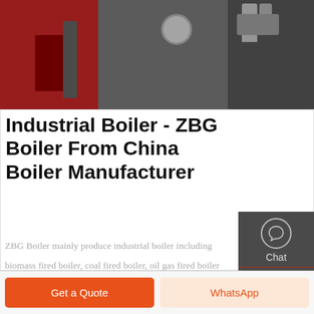[Figure (photo): Industrial boiler equipment photo showing red boiler unit with yellow pipe and gray machinery components]
Industrial Boiler - ZBG Boiler From China Boiler Manufacturer
ZBG Boiler mainly produce industrial boiler including biomass fired boiler, coal fired boiler, oil gas fired boiler and power plant boiler. All of these boiler types can be designed as steam boiler or hot water boiler according to the boiler application.
[Figure (infographic): Sidebar with Chat, Email, and Contact icons on dark gray background]
Get A Quote
Get a Quote
WhatsApp